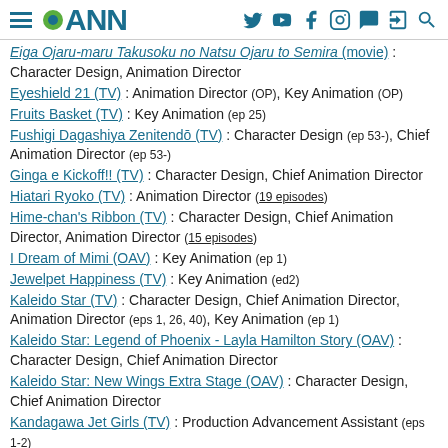ANN (Anime News Network) site header with navigation icons
Eiga Ojaru-maru Takusoku no Natsu Ojaru to Semira (movie) : Character Design, Animation Director
Eyeshield 21 (TV) : Animation Director (OP), Key Animation (OP)
Fruits Basket (TV) : Key Animation (ep 25)
Fushigi Dagashiya Zenitendō (TV) : Character Design (ep 53-), Chief Animation Director (ep 53-)
Ginga e Kickoff!! (TV) : Character Design, Chief Animation Director
Hiatari Ryoko (TV) : Animation Director (19 episodes)
Hime-chan's Ribbon (TV) : Character Design, Chief Animation Director, Animation Director (15 episodes)
I Dream of Mimi (OAV) : Key Animation (ep 1)
Jewelpet Happiness (TV) : Key Animation (ed2)
Kaleido Star (TV) : Character Design, Chief Animation Director, Animation Director (eps 1, 26, 40), Key Animation (ep 1)
Kaleido Star: Legend of Phoenix - Layla Hamilton Story (OAV) : Character Design, Chief Animation Director
Kaleido Star: New Wings Extra Stage (OAV) : Character Design, Chief Animation Director
Kandagawa Jet Girls (TV) : Production Advancement Assistant (eps 1-2)
Kero Kero Chime (TV) : Main Character Design